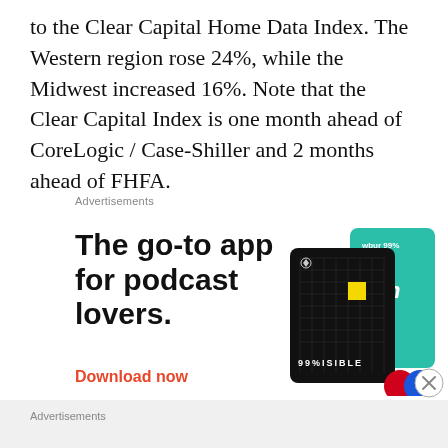to the Clear Capital Home Data Index. The Western region rose 24%, while the Midwest increased 16%. Note that the Clear Capital Index is one month ahead of CoreLogic / Case-Shiller and 2 months ahead of FHFA.
Advertisements
[Figure (other): Advertisement for a podcast app. Text reads: 'The go-to app for podcast lovers.' with a 'Download now' link in red, and an image of app interface cards including 99% Invisible podcast app on a black card and a teal card.]
Advertisements